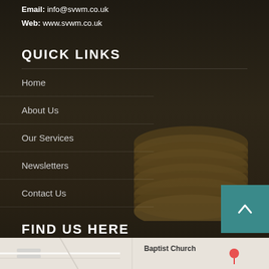Email: info@svwm.co.uk
Web: www.svwm.co.uk
QUICK LINKS
Home
About Us
Our Services
Newsletters
Contact Us
FIND US HERE
[Figure (map): Street map snippet at the bottom of the page showing location, with 'Baptist Church' label visible]